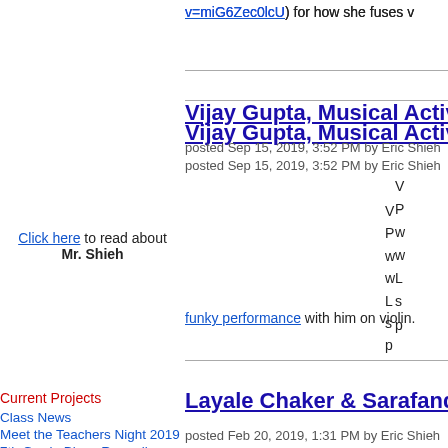v=miG6Zec0lcU) for how she fuses v
Click here to read about Mr. Shieh
Current Projects
Class News
Meet the Teachers Night 2019
7th Grade Blues Recordings 2020
Vijay Gupta, Musical Activi
posted Sep 15, 2019, 3:52 PM by Eric Shieh
V P w w L s p funky performance with him on violin.
Layale Chaker & Sarafand's
posted Feb 20, 2019, 1:31 PM by Eric Shieh
I